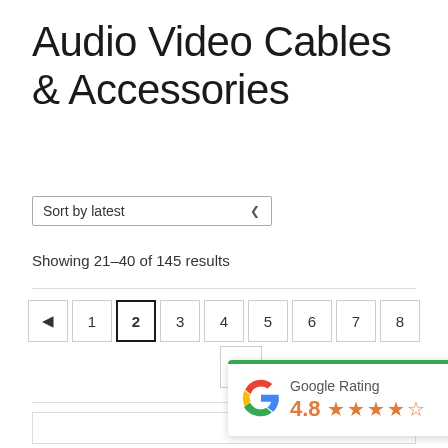Audio Video Cables & Accessories
Sort by latest
Showing 21–40 of 145 results
[Figure (screenshot): Pagination controls showing page buttons: back arrow, 1, 2 (active/current), 3, 4, 5, 6, 7, 8, and a forward arrow button below page 4]
[Figure (other): Google Rating widget with green top border, Google G logo, label 'Google Rating', score 4.8 and 4.5 gold stars out of 5]